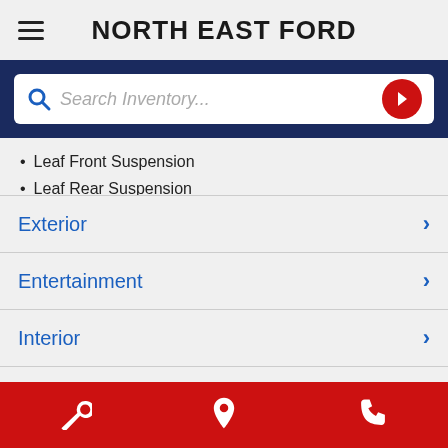NORTH EAST FORD
[Figure (screenshot): Search inventory bar with magnifying glass icon and red arrow button]
Leaf Front Suspension
Leaf Rear Suspension
Exterior
Entertainment
Interior
Safety
Service | Location | Phone